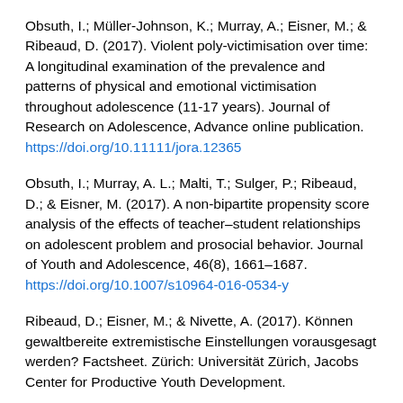Obsuth, I.; Müller-Johnson, K.; Murray, A.; Eisner, M.; & Ribeaud, D. (2017). Violent poly-victimisation over time: A longitudinal examination of the prevalence and patterns of physical and emotional victimisation throughout adolescence (11-17 years). Journal of Research on Adolescence, Advance online publication. https://doi.org/10.11111/jora.12365
Obsuth, I.; Murray, A. L.; Malti, T.; Sulger, P.; Ribeaud, D.; & Eisner, M. (2017). A non-bipartite propensity score analysis of the effects of teacher–student relationships on adolescent problem and prosocial behavior. Journal of Youth and Adolescence, 46(8), 1661–1687. https://doi.org/10.1007/s10964-016-0534-y
Ribeaud, D.; Eisner, M.; & Nivette, A. (2017). Können gewaltbereite extremistische Einstellungen vorausgesagt werden? Factsheet. Zürich: Universität Zürich, Jacobs Center for Productive Youth Development.
van Gelder, J.-J.; Averdijk, M.; Ribeaud, D.; & Eisner, M.